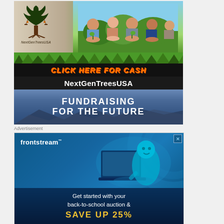[Figure (illustration): NextGenTreesUSA fundraising advertisement. Top half shows children holding seedlings with a tree logo and 'NextGenTreesUSA' text. Middle shows 'CLICK HERE FOR CASH' in orange text on dark background. Below that 'NextGenTreesUSA' in white, then 'FUNDRAISING FOR THE FUTURE' in white bold on mountain/blue gradient background.]
Advertisement
[Figure (illustration): Frontstream advertisement. Blue background with person at laptop. Text reads: frontstream, Get started with your back-to-school auction & SAVE UP 25%]